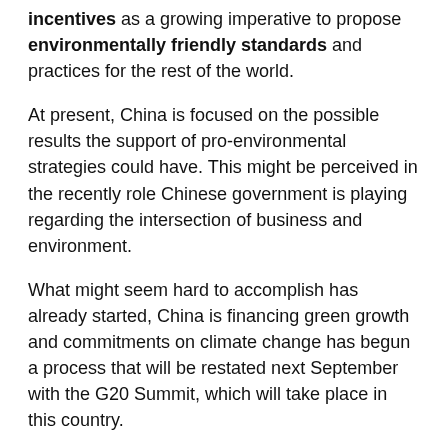incentives as a growing imperative to propose environmentally friendly standards and practices for the rest of the world.
At present, China is focused on the possible results the support of pro-environmental strategies could have. This might be perceived in the recently role Chinese government is playing regarding the intersection of business and environment.
What might seem hard to accomplish has already started, China is financing green growth and commitments on climate change has begun a process that will be restated next September with the G20 Summit, which will take place in this country.
With this incentive, China will provide other countries innovative concepts in green finance which also brings positive aspects in economic growth.